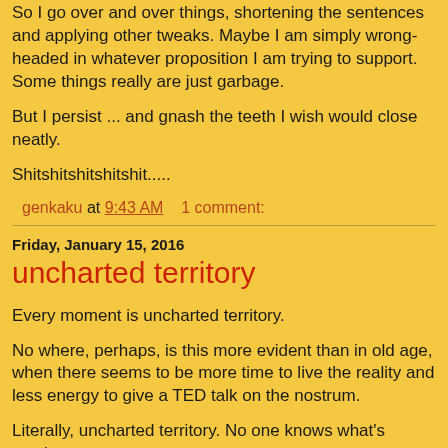So I go over and over things, shortening the sentences and applying other tweaks. Maybe I am simply wrong-headed in whatever proposition I am trying to support. Some things really are just garbage.
But I persist ... and gnash the teeth I wish would close neatly.
Shitshitshitshitshit.....
genkaku at 9:43 AM    1 comment:
Friday, January 15, 2016
uncharted territory
Every moment is uncharted territory.
No where, perhaps, is this more evident than in old age, when there seems to be more time to live the reality and less energy to give a TED talk on the nostrum.
Literally, uncharted territory. No one knows what's coming.